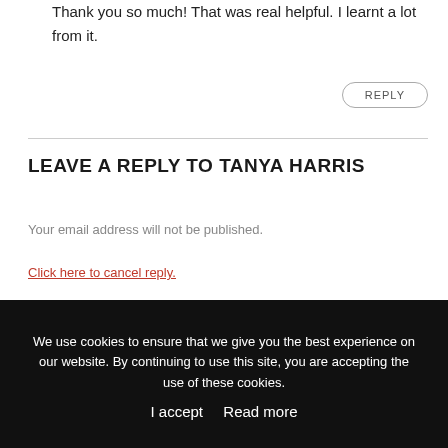Thank you so much! That was real helpful. I learnt a lot from it.
REPLY
LEAVE A REPLY TO TANYA HARRIS
Your email address will not be published.
Click here to cancel reply.
NAME *
We use cookies to ensure that we give you the best experience on our website. By continuing to use this site, you are accepting the use of these cookies.
I accept   Read more